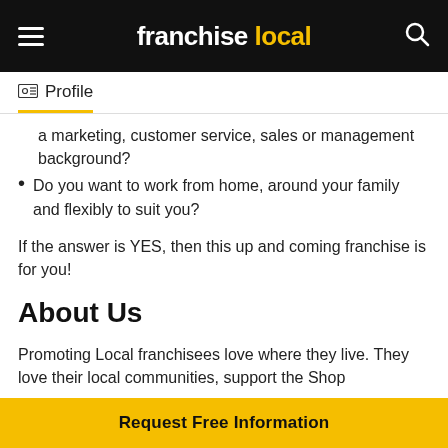franchise local
Profile
a marketing, customer service, sales or management background?
Do you want to work from home, around your family and flexibly to suit you?
If the answer is YES, then this up and coming franchise is for you!
About Us
Promoting Local franchisees love where they live. They love their local communities, support the Shop
Request Free Information